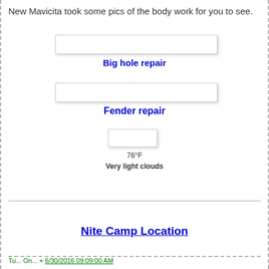New Mavicita took some pics of the body work for you to see.
[Figure (photo): Image placeholder for big hole repair photo]
Big hole repair
[Figure (photo): Image placeholder for fender repair photo]
Fender repair
[Figure (photo): Small weather image placeholder]
76°F
Very light clouds
Nite Camp Location
Tu... On... + 6/30/2016 09:09:00 AM